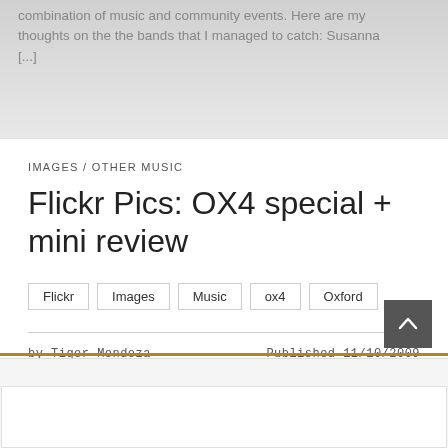combination of music and community events. Here are my thoughts on the the bands that I managed to catch: Susanna [...]
IMAGES / OTHER MUSIC
Flickr Pics: OX4 special + mini review
Flickr
Images
Music
ox4
Oxford
by Tiger Mendoza    Published 11/10/2009